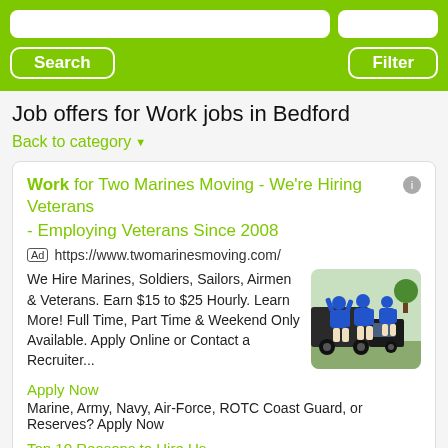Search | Filter
Job offers for Work jobs in Bedford
Back to category
Work for Two Marines Moving - We're Hiring Veterans - Employing Veterans Since 2008
Ad https://www.twomarinesmoving.com/
We Hire Marines, Soldiers, Sailors, Airmen & Veterans. Earn $15 to $25 Hourly. Learn More! Full Time, Part Time & Weekend Only Available. Apply Online or Contact a Recruiter...
Apply Now
Marine, Army, Navy, Air-Force, ROTC Coast Guard, or Reserves? Apply Now
Top 10 Reasons to Hire Us